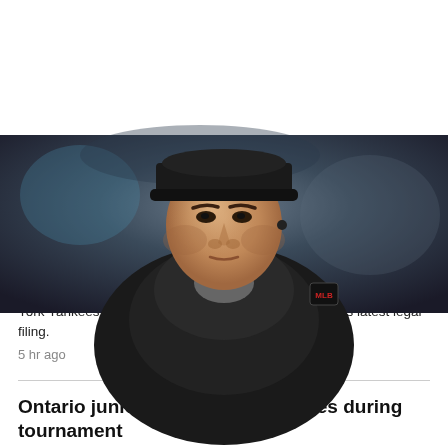[Figure (photo): Close-up photo of MLB umpire Angel Hernandez in a black jacket with MLB logo patch, looking upward against a blurred stadium background]
MLB: Umpire Hernandez blew calls, losing World Series job
Angel Hernandez was on track to umpire in the 2018 World Series before getting overturned three times at first base on video reviews during Game 3 of that year's AL Division Series between the New York Yankees and Boston, MLB wrote in response to his latest legal filing.
5 hr ago
Ontario junior B hockey player dies during tournament